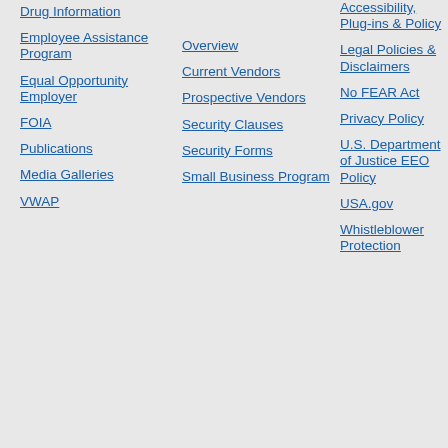Drug Information
Employee Assistance Program
Equal Opportunity Employer
FOIA
Publications
Media Galleries
VWAP
Overview
Current Vendors
Prospective Vendors
Security Clauses
Security Forms
Small Business Program
Accessibility, Plug-ins & Policy
Legal Policies & Disclaimers
No FEAR Act
Privacy Policy
U.S. Department of Justice EEO Policy
USA.gov
Whistleblower Protection